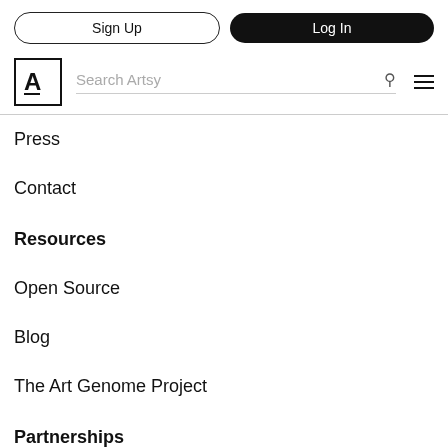Sign Up | Log In
[Figure (logo): Artsy logo: letter A in a square box with search bar and hamburger menu]
Press
Contact
Resources
Open Source
Blog
The Art Genome Project
Partnerships